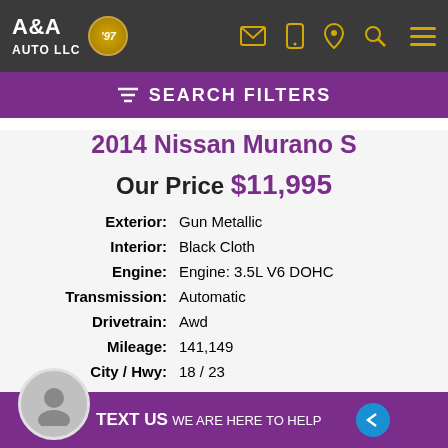A&A AUTO LLC '97 — navigation icons
SEARCH FILTERS
2014 Nissan Murano S
Our Price $11,995
| Label | Value |
| --- | --- |
| Exterior: | Gun Metallic |
| Interior: | Black Cloth |
| Engine: | Engine: 3.5L V6 DOHC |
| Transmission: | Automatic |
| Drivetrain: | Awd |
| Mileage: | 141,149 |
| City / Hwy: | 18 / 23 |
| VIN: | JN8AZ1MW3EW504128 |
|  | AS-IS No Warranty |
TEXT US WE ARE HERE TO HELP